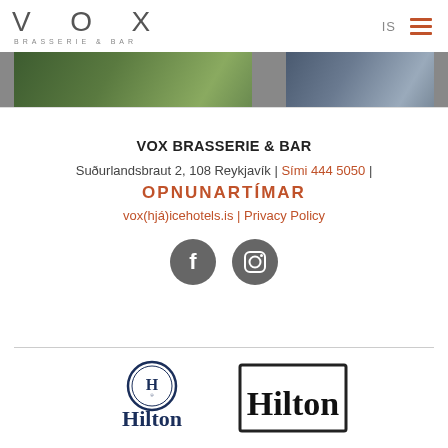VOX BRASSERIE & BAR — IS
[Figure (photo): Two cropped food/restaurant photos side by side forming an image strip]
VOX BRASSERIE & BAR
Suðurlandsbraut 2, 108 Reykjavík | Sími 444 5050 |
OPNUNARTÍMAR
vox(hjá)icehotels.is | Privacy Policy
[Figure (illustration): Facebook and Instagram social media icons (grey circles with white logos)]
[Figure (logo): Hilton hotel logo (medallion style) and Hilton Hotels & Resorts logo in box]